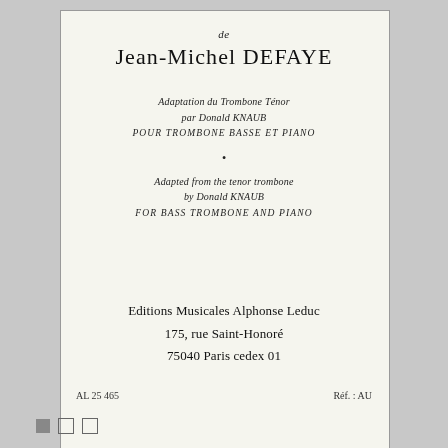de
Jean-Michel DEFAYE
Adaptation du Trombone Ténor
par Donald KNAUB
POUR TROMBONE BASSE ET PIANO
•
Adapted from the tenor trombone
by Donald KNAUB
FOR BASS TROMBONE AND PIANO
Editions Musicales Alphonse Leduc
175, rue Saint-Honoré
75040 Paris cedex 01
AL 25 465    Réf. : AU